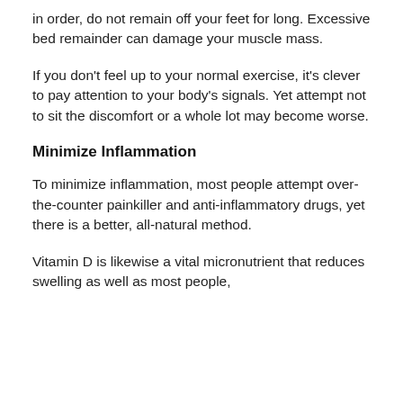in order, do not remain off your feet for long. Excessive bed remainder can damage your muscle mass.
If you don't feel up to your normal exercise, it's clever to pay attention to your body's signals. Yet attempt not to sit the discomfort or a whole lot may become worse.
Minimize Inflammation
To minimize inflammation, most people attempt over-the-counter painkiller and anti-inflammatory drugs, yet there is a better, all-natural method.
Vitamin D is likewise a vital micronutrient that reduces swelling as well as most people,